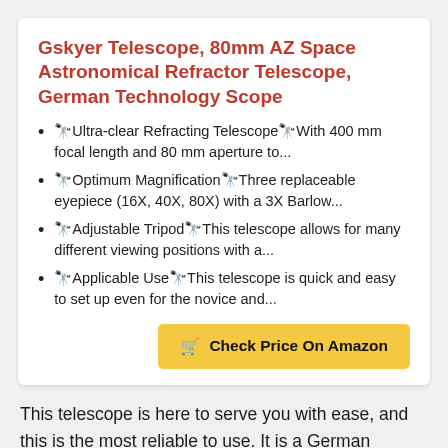Gskyer Telescope, 80mm AZ Space Astronomical Refractor Telescope, German Technology Scope
🔭Ultra-clear Refracting Telescope🔭With 400 mm focal length and 80 mm aperture to...
🔭Optimum Magnification🔭Three replaceable eyepiece (16X, 40X, 80X) with a 3X Barlow...
🔭Adjustable Tripod🔭This telescope allows for many different viewing positions with a...
🔭Applicable Use🔭This telescope is quick and easy to set up even for the novice and...
This telescope is here to serve you with ease, and this is the most reliable to use. It is a German telescope that has a focal length of 400mm, and